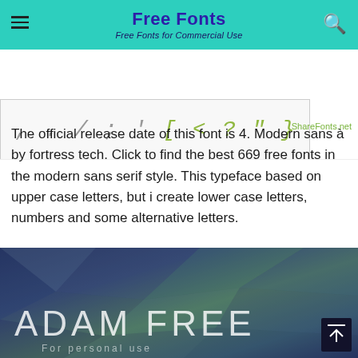Free Fonts — Free Fonts for Commercial Use
[Figure (screenshot): Font preview strip showing punctuation characters: comma, period, slash, semicolon, apostrophe, bracket, less-than, question mark, quote, curly brace. ShareFonts.net watermark visible.]
The official release date of this font is 4. Modern sans à by fortress tech. Click to find the best 669 free fonts in the modern sans serif style. This typeface based on upper case letters, but i create lower case letters, numbers and some alternative letters.
[Figure (illustration): Dark blue polygonal geometric background with text 'ADAM FREE' in large thin white letters. Below reads 'For personal use'. A back-to-top button appears in the bottom right corner.]